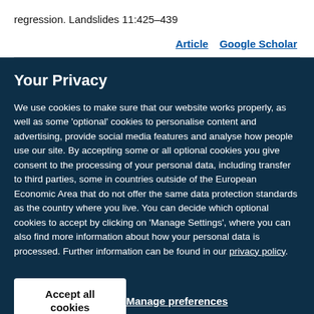regression. Landslides 11:425–439
Article   Google Scholar
Your Privacy
We use cookies to make sure that our website works properly, as well as some 'optional' cookies to personalise content and advertising, provide social media features and analyse how people use our site. By accepting some or all optional cookies you give consent to the processing of your personal data, including transfer to third parties, some in countries outside of the European Economic Area that do not offer the same data protection standards as the country where you live. You can decide which optional cookies to accept by clicking on 'Manage Settings', where you can also find more information about how your personal data is processed. Further information can be found in our privacy policy.
Accept all cookies
Manage preferences